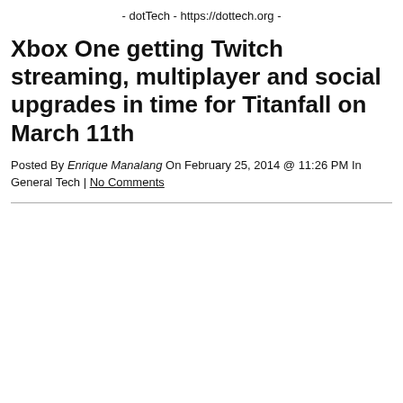- dotTech - https://dottech.org -
Xbox One getting Twitch streaming, multiplayer and social upgrades in time for Titanfall on March 11th
Posted By Enrique Manalang On February 25, 2014 @ 11:26 PM In General Tech | No Comments